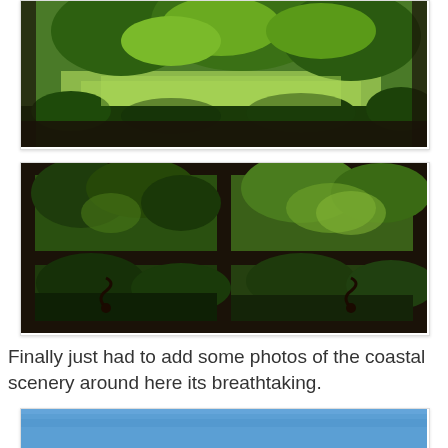[Figure (photo): View through a dark-framed window looking out onto a lush green garden with trees and grass lawn, strongly lit by sunlight. Dark window frame visible at bottom and sides.]
[Figure (photo): View through a multi-pane dark window frame (six panes visible) looking out onto a garden with dense green trees and foliage. Decorative ironwork scroll visible at bottom of frame. Lush greenery fills all panes.]
Finally just had to add some photos of the coastal scenery around here its breathtaking.
[Figure (photo): Partial view of a photo showing a blue sky or blue background, only top portion visible at bottom of page.]